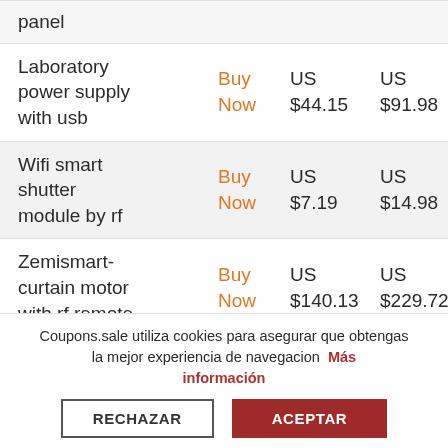| Product | Action | Price 1 | Price 2 | Badge |
| --- | --- | --- | --- | --- |
| panel |  |  |  |  |
| Laboratory power supply with usb | Buy Now | US $44.15 | US $91.98 | 52% |
| Wifi smart shutter module by rf | Buy Now | US $7.19 | US $14.98 | 52% |
| Zemismart-curtain motor with rf remote | Buy Now | US $140.13 | US $229.72 | 39% |
Coupons.sale utiliza cookies para asegurar que obtengas la mejor experiencia de navegacion Más información